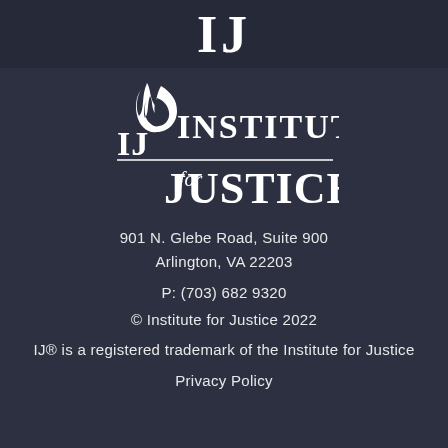IJ
[Figure (logo): Institute for Justice logo with flame icon and text 'IJ for JUSTICE']
901 N. Glebe Road, Suite 900
Arlington, VA 22203
P: (703) 682 9320
© Institute for Justice 2022
IJ® is a registered trademark of the Institute for Justice
Privacy Policy